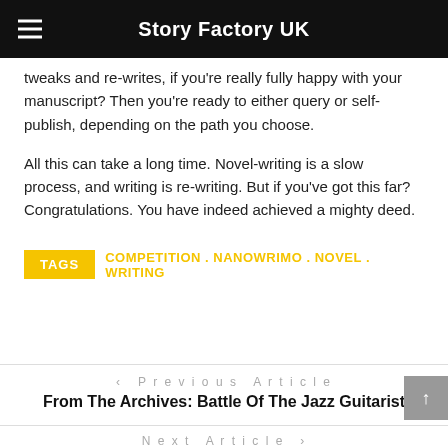Story Factory UK
tweaks and re-writes, if you're really fully happy with your manuscript? Then you're ready to either query or self-publish, depending on the path you choose.
All this can take a long time. Novel-writing is a slow process, and writing is re-writing. But if you've got this far? Congratulations. You have indeed achieved a mighty deed.
TAGS  COMPETITION . NANOWRIMO . NOVEL . WRITING
< Previous Article
From The Archives: Battle Of The Jazz Guitarist
Next Article >